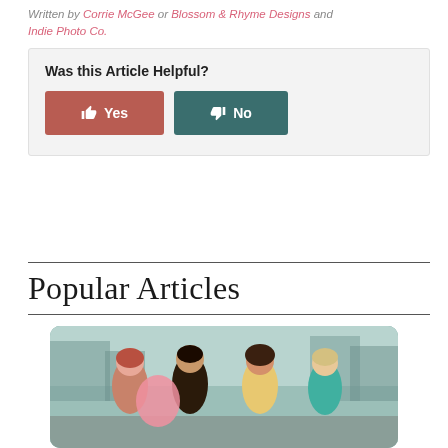Written by Corrie McGee or Blossom & Rhyme Designs and Indie Photo Co.
Was this Article Helpful?
Yes
No
Popular Articles
[Figure (photo): Photo of four young women outdoors on a city street, smiling and socializing, one holding a large pink balloon]